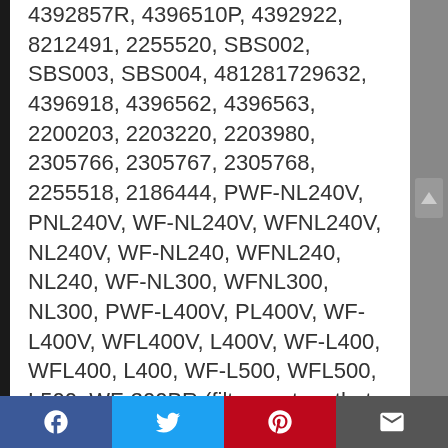4392857R, 4396510P, 4392922, 8212491, 2255520, SBS002, SBS003, SBS004, 481281729632, 4396918, 4396562, 4396563, 2200203, 2203220, 2203980, 2305766, 2305767, 2305768, 2255518, 2186444, PWF-NL240V, PNL240V, WF-NL240V, WFNL240V, NL240V, WF-NL240, WFNL240, NL240, WF-NL300, WFNL300, NL300, PWF-L400V, PL400V, WF-L400V, WFL400V, L400V, WF-L400, WFL400, L400, WF-L500, WFL500, L500, WF-300BR (filter system that uses 4396508).
Sears / Kenmore:
46-9010, 46-9902, 469902, 9902, 9902P, 04609902000, 46-9908, 469908, 9908,
Facebook | Twitter | Pinterest | Email